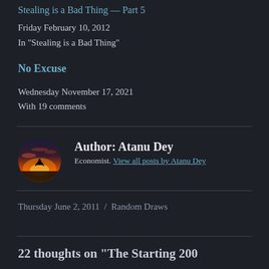Stealing is a Bad Thing — Part 5
Friday February 10, 2012
In "Stealing is a Bad Thing"
No Excuse
Wednesday November 17, 2021
With 19 comments
[Figure (photo): Circular author avatar showing a silhouette against a sunset sky with orange and red colors]
Author: Atanu Dey
Economist. View all posts by Atanu Dey
Thursday June 2, 2011  /  Random Draws
22 thoughts on "The Starting 200